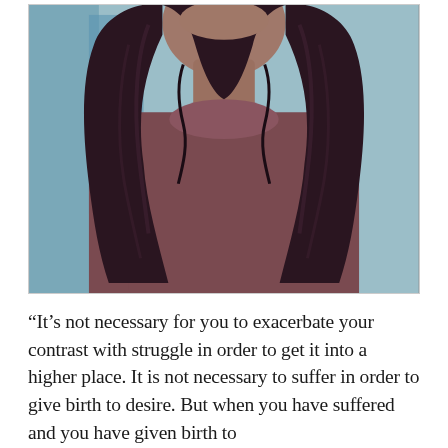[Figure (photo): A young woman with long dark curly hair wearing a loose mauve/burgundy t-shirt, photographed from about waist up against a light blue background.]
“It’s not necessary for you to exacerbate your contrast with struggle in order to get it into a higher place. It is not necessary to suffer in order to give birth to desire. But when you have suffered and you have given birth to